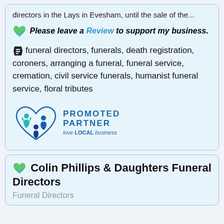directors in the Lays in Evesham, until the sale of the...
💚💙 Please leave a Review to support my business.
🏷 funeral directors, funerals, death registration, coroners, arranging a funeral, funeral service, cremation, civil service funerals, humanist funeral service, floral tributes
[Figure (logo): Promoted Partner - love LOCAL business logo with heart shape made of blue figures]
💚💙 Colin Phillips & Daughters Funeral Directors
Funeral Directors